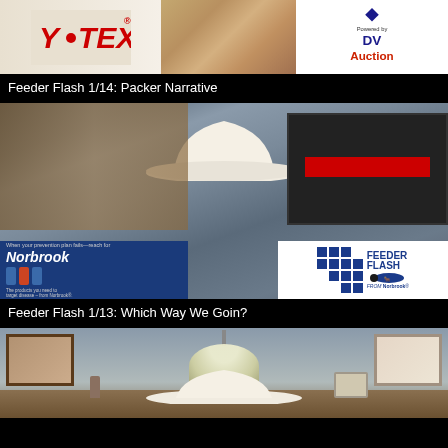[Figure (screenshot): Thumbnail image showing Y-TEX logo on left, person in plaid shirt in center, DVAuction logo on right]
Feeder Flash 1/14: Packer Narrative
[Figure (screenshot): Video thumbnail showing man in white cowboy hat and striped shirt seated at desk, with Norbrook sponsor overlay bottom-left and Feeder Flash from Norbrook logo bottom-right]
Feeder Flash 1/13: Which Way We Goin?
[Figure (screenshot): Partial video thumbnail showing desk with photo frames and lamp, person in white cowboy hat visible at bottom]